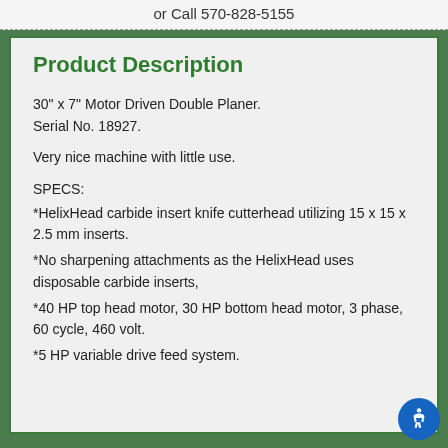or Call 570-828-5155
Product Description
30" x 7" Motor Driven Double Planer.
Serial No. 18927.
Very nice machine with little use.
SPECS:
*HelixHead carbide insert knife cutterhead utilizing 15 x 15 x 2.5 mm inserts.
*No sharpening attachments as the HelixHead uses disposable carbide inserts,
*40 HP top head motor, 30 HP bottom head motor, 3 phase, 60 cycle, 460 volt.
*5 HP variable drive feed system.